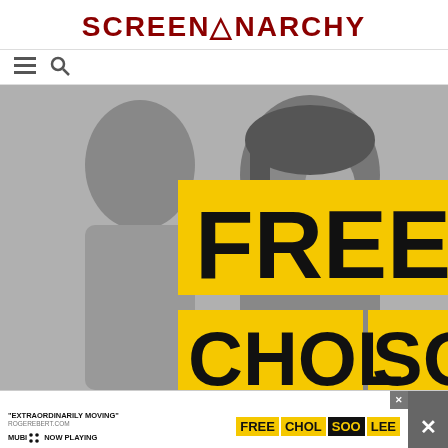SCREENANARCHY
[Figure (screenshot): Website navigation bar with hamburger menu icon and search icon on white background]
[Figure (photo): Black and white photo of two Asian people with yellow banner overlays reading FREE CHOL SOO LEE in bold black text]
[Figure (infographic): Advertisement banner: EXTRAORDINARILY MOVING - ROGEREBERT.COM, MUBI NOW PLAYING, FREE CHOL SOO LEE logo with yellow and black blocks, with close button]